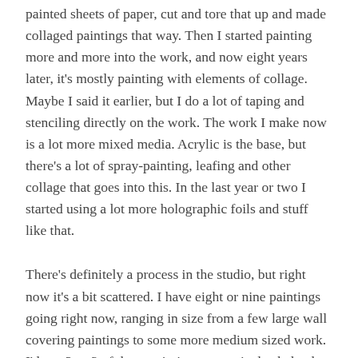painted sheets of paper, cut and tore that up and made collaged paintings that way. Then I started painting more and more into the work, and now eight years later, it's mostly painting with elements of collage. Maybe I said it earlier, but I do a lot of taping and stenciling directly on the work. The work I make now is a lot more mixed media. Acrylic is the base, but there's a lot of spray-painting, leafing and other collage that goes into this. In the last year or two I started using a lot more holographic foils and stuff like that.
There's definitely a process in the studio, but right now it's a bit scattered. I have eight or nine paintings going right now, ranging in size from a few large wall covering paintings to some more medium sized work. I'd say 2 or 3 of these paintings are actively shelved. Maybe this is the other bad constraint with my studio. I have room for 2-3 things to be out at once. I wish I had room for everything to be up on a wall at once, but someday. I'm working on a few films that I